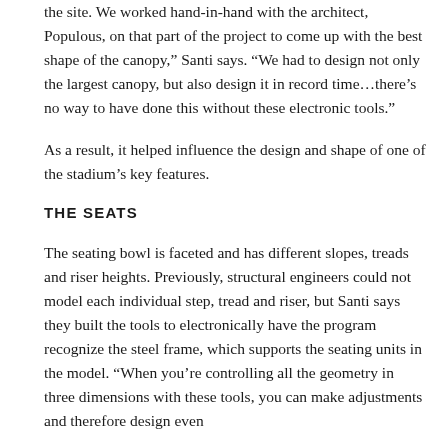the site. We worked hand-in-hand with the architect, Populous, on that part of the project to come up with the best shape of the canopy,” Santi says. “We had to design not only the largest canopy, but also design it in record time…there’s no way to have done this without these electronic tools.”
As a result, it helped influence the design and shape of one of the stadium’s key features.
THE SEATS
The seating bowl is faceted and has different slopes, treads and riser heights. Previously, structural engineers could not model each individual step, tread and riser, but Santi says they built the tools to electronically have the program recognize the steel frame, which supports the seating units in the model. “When you’re controlling all the geometry in three dimensions with these tools, you can make adjustments and therefore design even